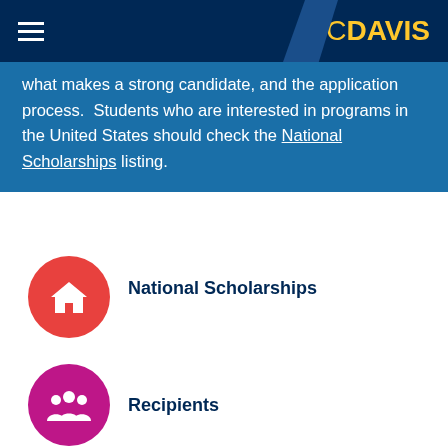UC DAVIS
what makes a strong candidate, and the application process.  Students who are interested in programs in the United States should check the National Scholarships listing.
[Figure (illustration): Red circle icon with a house/home symbol inside]
National Scholarships
[Figure (illustration): Magenta circle icon with a group of people/recipients symbol inside]
Recipients